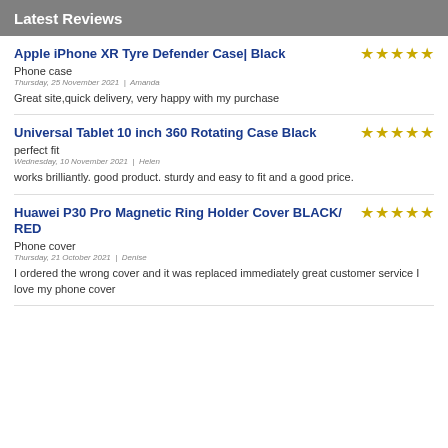Latest Reviews
Apple iPhone XR Tyre Defender Case| Black
Phone case
Thursday, 25 November 2021 | Amanda
Great site,quick delivery, very happy with my purchase
Universal Tablet 10 inch 360 Rotating Case Black
perfect fit
Wednesday, 10 November 2021 | Helen
works brilliantly. good product. sturdy and easy to fit and a good price.
Huawei P30 Pro Magnetic Ring Holder Cover BLACK/ RED
Phone cover
Thursday, 21 October 2021 | Denise
I ordered the wrong cover and it was replaced immediately great customer service I love my phone cover